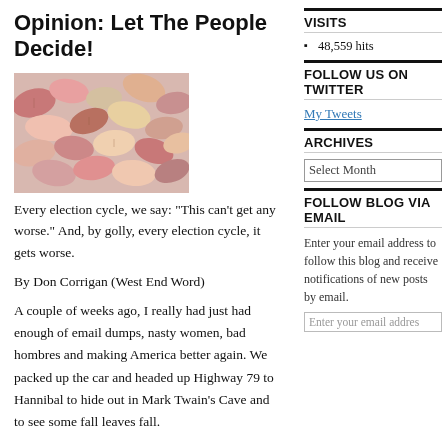Opinion: Let The People Decide!
[Figure (photo): Photo of colorful autumn leaves, pink, red, yellow and beige tones, scattered together]
Every election cycle, we say: “This can’t get any worse.” And, by golly, every election cycle, it gets worse.
By Don Corrigan (West End Word)
A couple of weeks ago, I really had just had enough of email dumps, nasty women, bad hombres and making America better again. We packed up the car and headed up Highway 79 to Hannibal to hide out in Mark Twain’s Cave and to see some fall leaves fall.
VISITS
48,559 hits
FOLLOW US ON TWITTER
My Tweets
ARCHIVES
Select Month
FOLLOW BLOG VIA EMAIL
Enter your email address to follow this blog and receive notifications of new posts by email.
Enter your email addres